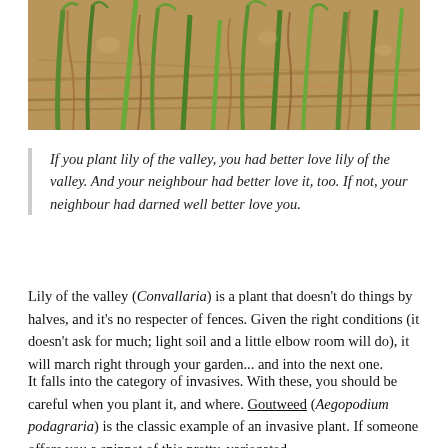[Figure (photo): Close-up photo of green grass or plant shoots growing through brown dried straw/mulch on the ground]
If you plant lily of the valley, you had better love lily of the valley. And your neighbour had better love it, too. If not, your neighbour had darned well better love you.
Lily of the valley (Convallaria) is a plant that doesn't do things by halves, and it's no respecter of fences. Given the right conditions (it doesn't ask for much; light soil and a little elbow room will do), it will march right through your garden... and into the next one.
It falls into the category of invasives. With these, you should be careful when you plant it, and where. Goutweed (Aegopodium podagraria) is the classic example of an invasive plant. If someone offers you a snippet of this pretty, variegated